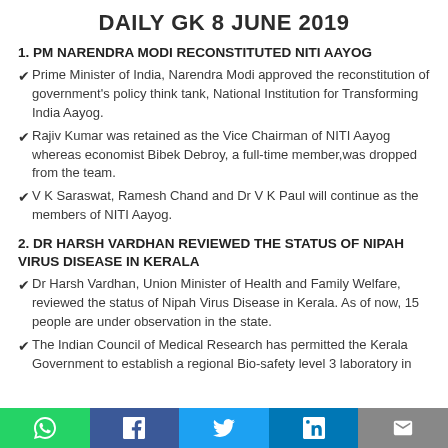DAILY GK 8 JUNE 2019
1. PM NARENDRA MODI RECONSTITUTED NITI AAYOG
Prime Minister of India, Narendra Modi approved the reconstitution of government's policy think tank, National Institution for Transforming India Aayog.
Rajiv Kumar was retained as the Vice Chairman of NITI Aayog whereas economist Bibek Debroy, a full-time member,was dropped from the team.
V K Saraswat, Ramesh Chand and Dr V K Paul will continue as the members of NITI Aayog.
2. DR HARSH VARDHAN REVIEWED THE STATUS OF NIPAH VIRUS DISEASE IN KERALA
Dr Harsh Vardhan, Union Minister of Health and Family Welfare, reviewed the status of Nipah Virus Disease in Kerala. As of now, 15 people are under observation in the state.
The Indian Council of Medical Research has permitted the Kerala Government to establish a regional Bio-safety level 3 laboratory in...